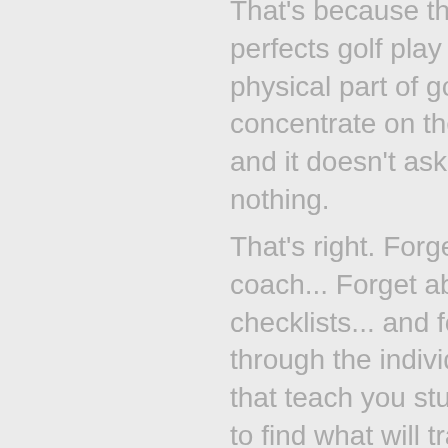That's because this golfing system which perfects golf play doesn't just focus on the physical part of golfing... it doesn't just concentrate on the 'mental' part of the game... and it doesn't ask you to just read and do nothing.
That's right. Forget about hiring a personal golf coach... Forget about pouring over videos and checklists... and forget about wading your way through the individual products and courses that teach you stuff you don't want to know only to find what will transform your golf play.
The plain fact is... and this is what separates the great golfers from